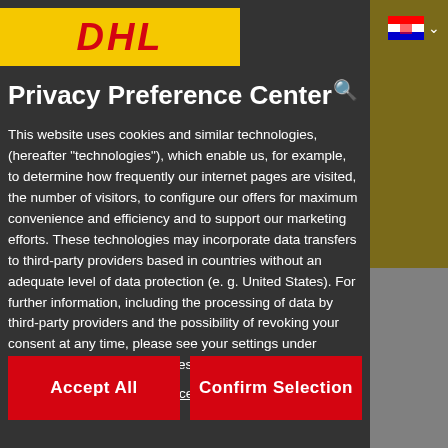[Figure (logo): DHL logo on yellow background]
Privacy Preference Center
This website uses cookies and similar technologies, (hereafter "technologies"), which enable us, for example, to determine how frequently our internet pages are visited, the number of visitors, to configure our offers for maximum convenience and efficiency and to support our marketing efforts. These technologies may incorporate data transfers to third-party providers based in countries without an adequate level of data protection (e. g. United States). For further information, including the processing of data by third-party providers and the possibility of revoking your consent at any time, please see your settings under "Manage Consent Preferences" and the following links
Privacy Notice   Legal Notice
Accept All
Confirm Selection